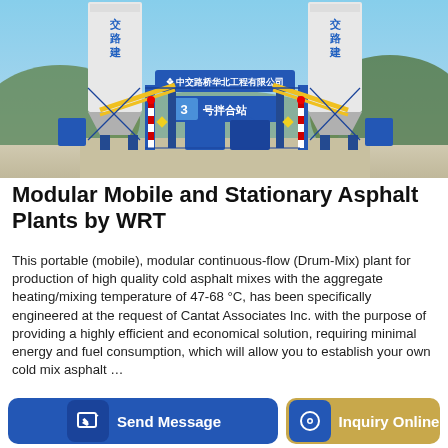[Figure (photo): Outdoor photo of a modular asphalt mixing plant with large white silos, blue steel framework, yellow conveyor arms, and Chinese text banners reading '中交路桥华北工程有限公司' and '3号拌合站'.]
Modular Mobile and Stationary Asphalt Plants by WRT
This portable (mobile), modular continuous-flow (Drum-Mix) plant for production of high quality cold asphalt mixes with the aggregate heating/mixing temperature of 47-68 °C, has been specifically engineered at the request of Cantat Associates Inc. with the purpose of providing a highly efficient and economical solution, requiring minimal energy and fuel consumption, which will allow you to establish your own cold mix asphalt …
Send Message
Inquiry Online